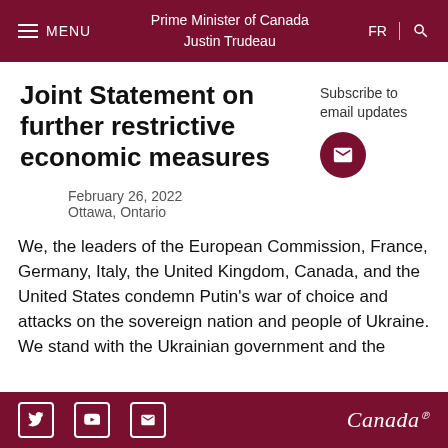Prime Minister of Canada Justin Trudeau
Joint Statement on further restrictive economic measures
Subscribe to email updates
February 26, 2022
Ottawa, Ontario
We, the leaders of the European Commission, France, Germany, Italy, the United Kingdom, Canada, and the United States condemn Putin's war of choice and attacks on the sovereign nation and people of Ukraine. We stand with the Ukrainian government and the
Canada